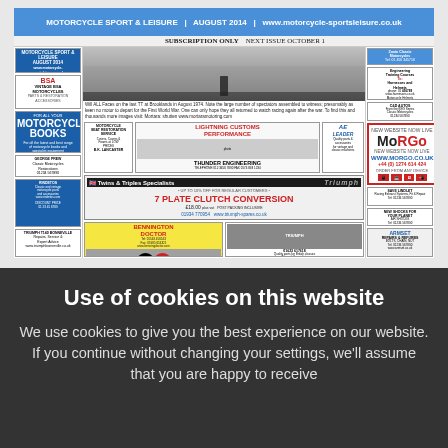[Figure (screenshot): Screenshot of a motorcycle enthusiast magazine/website front page with various advertisements including BSA motorcycles, Morgo, Thunder Engineering, Triumph spare parts, Bennington Doctor, ArmSet parts. Center shows a historical black and white photograph of motorcyclists at what appears to be a race event in August 1914.]
Use of cookies on this website
We use cookies to give you the best experience on our website. If you continue without changing your settings, we'll assume that you are happy to receive